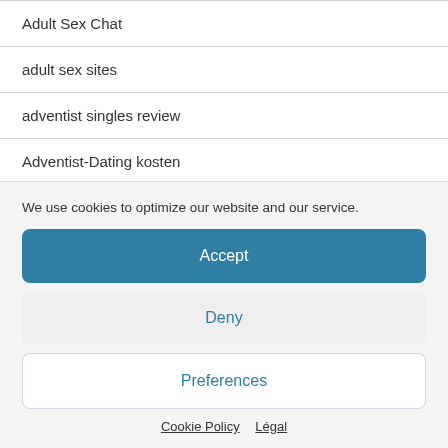Adult Sex Chat
adult sex sites
adventist singles review
Adventist-Dating kosten
African Dating kosten
We use cookies to optimize our website and our service.
Accept
Deny
Preferences
Cookie Policy  Légal